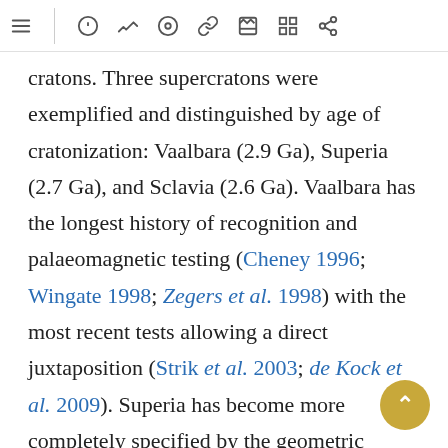[toolbar with navigation icons]
cratons. Three supercratons were exemplified and distinguished by age of cratonization: Vaalbara (2.9 Ga), Superia (2.7 Ga), and Sclavia (2.6 Ga). Vaalbara has the longest history of recognition and palaeomagnetic testing (Cheney 1996; Wingate 1998; Zegers et al. 1998) with the most recent tests allowing a direct juxtaposition (Strik et al. 2003; de Kock et al. 2009). Superia has become more completely specified by the geometric constraints of precisely dated, intersecting dyke swarms across Superior, Kola–Karelia, Hearne, and Wyoming cratons through the interval 2.5–2.1 Ga (Bleeker & Ernst 2006). Aside from the Slave craton, the additional elements of Sclavia remain